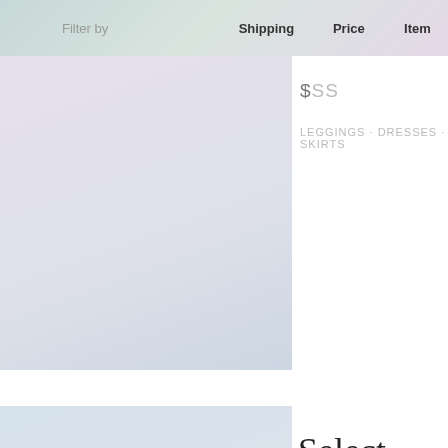Filter by   Shipping   Price   Item
$SS
LEGGINGS · DRESSES · SKIRTS
Select
$SS
TOPS · PANTS · SKIRTS · DRESSES · TANKS & MORE
Stop Staring
$$$